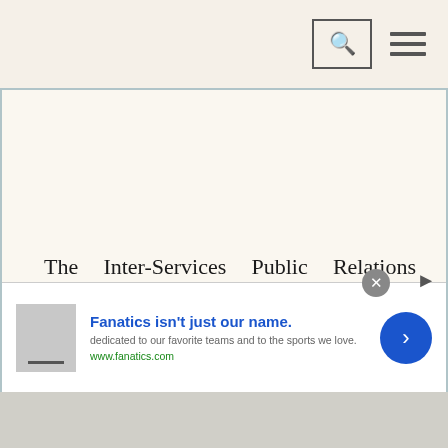[search icon] [hamburger menu]
The Inter-Services Public Relations Directorate said the army was engaged in the rescue operation, efforts to select temporary shelters and ensure food, drinking water and medical services for the people, and to help the civil administration protect food silos, power stations and other key establishments.
[Figure (infographic): Advertisement banner for Fanatics.com: 'Fanatics isn't just our name.' with subtitle 'dedicated to our favorite teams and to the sports we love.' and URL www.fanatics.com, with a blue circular arrow button on the right.]